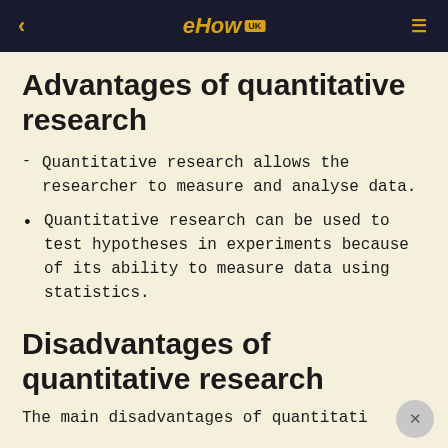eHow UK
Advantages of quantitative research
Quantitative research allows the researcher to measure and analyse data.
Quantitative research can be used to test hypotheses in experiments because of its ability to measure data using statistics.
Disadvantages of quantitative research
The main disadvantages of quantitative...